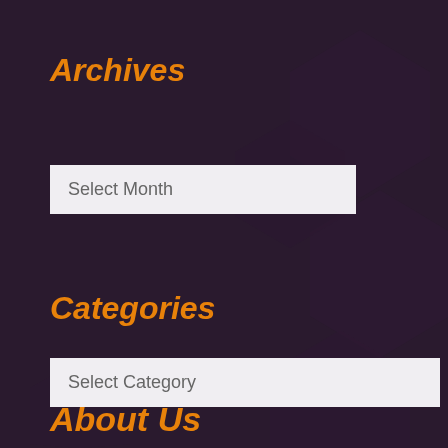Archives
Select Month
Categories
Select Category
About Us